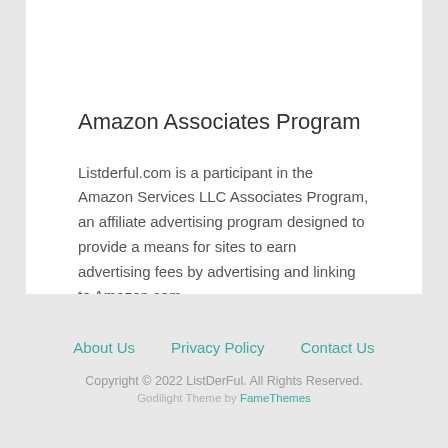Amazon Associates Program
Listderful.com is a participant in the Amazon Services LLC Associates Program, an affiliate advertising program designed to provide a means for sites to earn advertising fees by advertising and linking to Amazon.com.
About Us  Privacy Policy  Contact Us
Copyright © 2022 ListDerFul. All Rights Reserved.
Godilight Theme by FameThemes